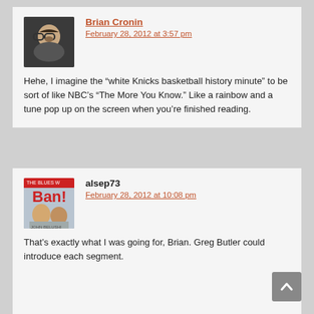Brian Cronin
February 28, 2012 at 3:57 pm
Hehe, I imagine the “white Knicks basketball history minute” to be sort of like NBC’s “The More You Know.” Like a rainbow and a tune pop up on the screen when you’re finished reading.
alsep73
February 28, 2012 at 10:08 pm
That’s exactly what I was going for, Brian. Greg Butler could introduce each segment.